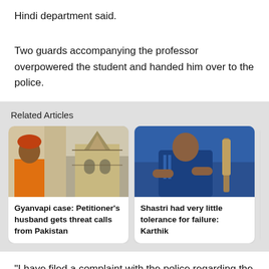Hindi department said.
Two guards accompanying the professor overpowered the student and handed him over to the police.
Related Articles
[Figure (photo): News article card: Gyanvapi case with photo of man in orange vest and temple building]
Gyanvapi case: Petitioner's husband gets threat calls from Pakistan
[Figure (photo): News article card: Cricket coach photo, man in blue cricket jersey with arms crossed]
Shastri had very little tolerance for failure: Karthik
"I have filed a complaint with the police regarding the incident. This incident shows that my life is under